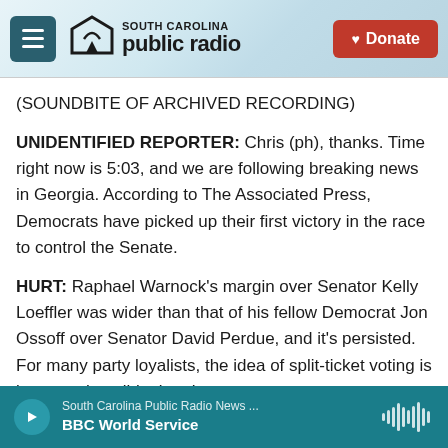[Figure (screenshot): South Carolina Public Radio website header with hamburger menu, logo, and red Donate button]
(SOUNDBITE OF ARCHIVED RECORDING)
UNIDENTIFIED REPORTER: Chris (ph), thanks. Time right now is 5:03, and we are following breaking news in Georgia. According to The Associated Press, Democrats have picked up their first victory in the race to control the Senate.
HURT: Raphael Warnock's margin over Senator Kelly Loeffler was wider than that of his fellow Democrat Jon Ossoff over Senator David Perdue, and it's persisted. For many party loyalists, the idea of split-ticket voting is incomprehensible, but there
[Figure (screenshot): Audio player bar showing South Carolina Public Radio News ... BBC World Service with play button and waveform icon]